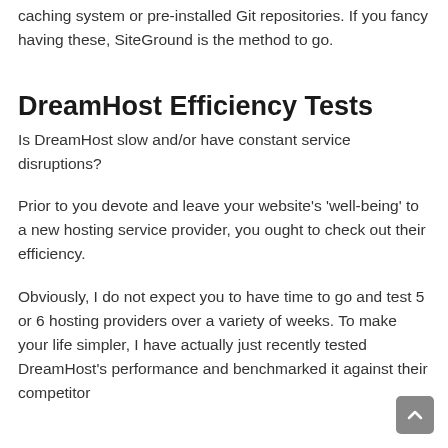caching system or pre-installed Git repositories. If you fancy having these, SiteGround is the method to go.
DreamHost Efficiency Tests
Is DreamHost slow and/or have constant service disruptions?
Prior to you devote and leave your website's 'well-being' to a new hosting service provider, you ought to check out their efficiency.
Obviously, I do not expect you to have time to go and test 5 or 6 hosting providers over a variety of weeks. To make your life simpler, I have actually just recently tested DreamHost's performance and benchmarked it against their competitors.